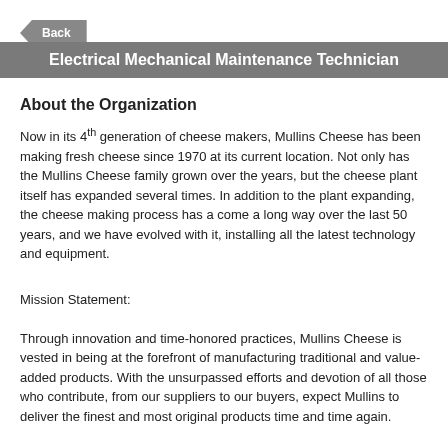Back
Electrical Mechanical Maintenance Technician
About the Organization
Now in its 4th generation of cheese makers, Mullins Cheese has been making fresh cheese since 1970 at its current location. Not only has the Mullins Cheese family grown over the years, but the cheese plant itself has expanded several times. In addition to the plant expanding, the cheese making process has a come a long way over the last 50 years, and we have evolved with it, installing all the latest technology and equipment.
Mission Statement:
Through innovation and time-honored practices, Mullins Cheese is vested in being at the forefront of manufacturing traditional and value-added products. With the unsurpassed efforts and devotion of all those who contribute, from our suppliers to our buyers, expect Mullins to deliver the finest and most original products time and time again.